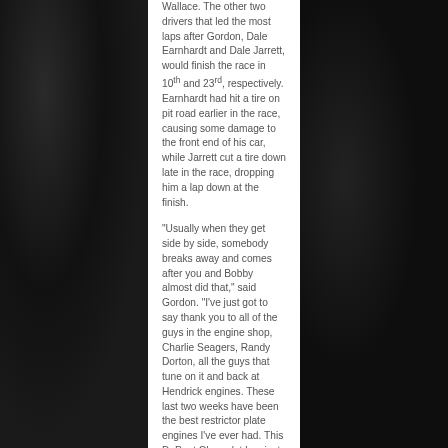Wallace. The other two drivers that led the most laps after Gordon, Dale Earnhardt and Dale Jarrett, would finish the race in 10th and 23rd, respectively. Earnhardt had hit a tire on pit road earlier in the race, causing some damage to the front end of his car, while Jarrett cut a tire down late in the race, dropping him a lap down at the finish.
"Usually when they get side by side, somebody breaks away and comes after you and Bobby almost did that," said Gordon. "I've just got to say thank you to all of the guys in the engine shop, Charlie Seagers, Randy Dorton, all the guys that tune on it and back at Hendrick engines. These last two weeks have been the best restrictor plate engines I've ever had. This DuPont Chevrolet has just been awesome. I want to thank God, he certainly directed me and guided me all through traffic today and on that last restart, I'm sure he was riding with me."
"It was just a phenomenal effort by everybody this